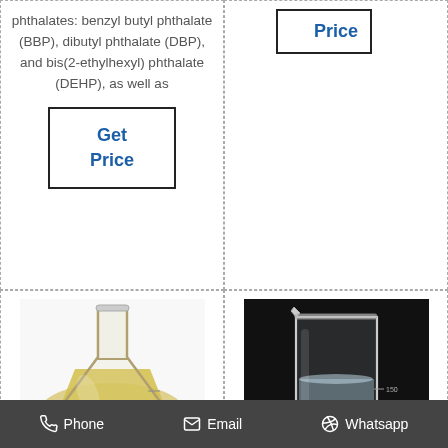phthalates: benzyl butyl phthalate (BBP), dibutyl phthalate (DBP), and bis(2-ethylhexyl) phthalate (DEHP), as well as
[Figure (other): Price button box in top right cell]
Get Price
[Figure (photo): Flask with yellow liquid - China DBP product photo]
[Figure (photo): Glass beaker with clear liquid on dark background - Dibutyl product photo]
China DBP
Dibutyl
Phone  Email  Whatsapp